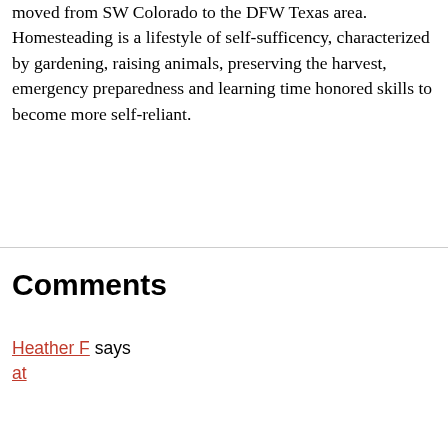moved from SW Colorado to the DFW Texas area. Homesteading is a lifestyle of self-sufficency, characterized by gardening, raising animals, preserving the harvest, emergency preparedness and learning time honored skills to become more self-reliant.
Comments
Heather F says
at